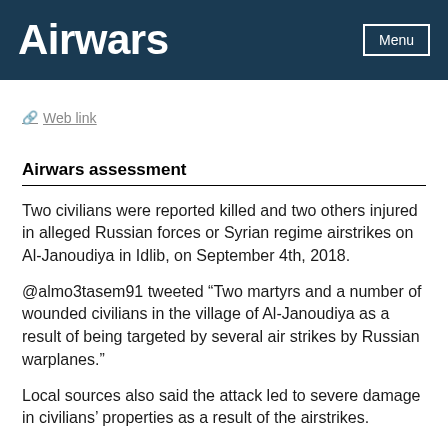Airwars
Web link
Airwars assessment
Two civilians were reported killed and two others injured in alleged Russian forces or Syrian regime airstrikes on Al-Janoudiya in Idlib, on September 4th, 2018.
@almo3tasem91 tweeted “Two martyrs and a number of wounded civilians in the village of Al-Janoudiya as a result of being targeted by several air strikes by Russian warplanes.”
Local sources also said the attack led to severe damage in civilians’ properties as a result of the airstrikes.